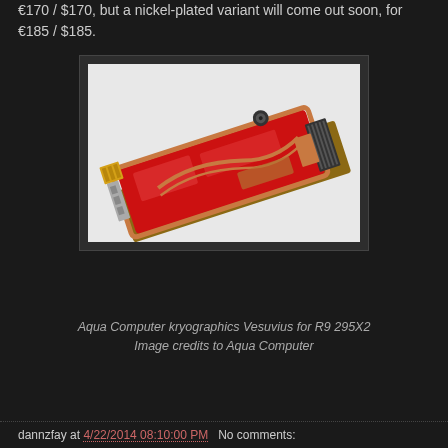€170 / $170, but a nickel-plated variant will come out soon, for €185 / $185.
[Figure (photo): GPU water cooling block — Aqua Computer kryographics Vesuvius for R9 295X2. A graphics card with a large red and copper water block covering it, shown at an angle against a white background.]
Aqua Computer kryographics Vesuvius for R9 295X2
Image credits to Aqua Computer
dannzfay at 4/22/2014 08:10:00 PM   No comments: